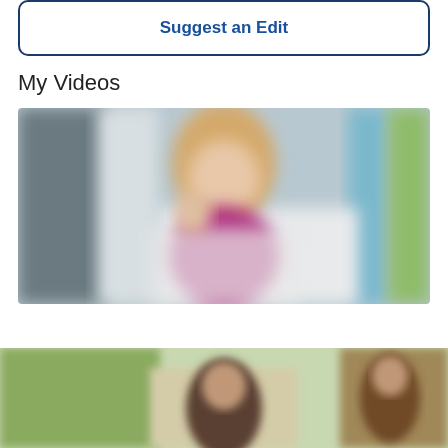Suggest an Edit
My Videos
[Figure (photo): Blurred video thumbnail showing a woman in a white coat with a pink/magenta shirt, standing in a bright indoor setting with colorful background elements]
[Figure (photo): Partial bottom photo showing people outdoors in a natural setting]